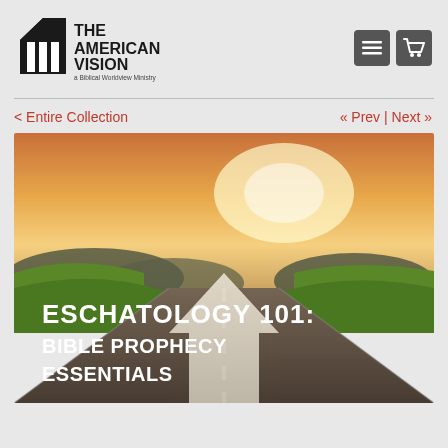[Figure (logo): The American Vision logo - a Biblical Worldview Ministry, with building/pillars icon]
< Entire Collection   « Prev | Next »
[Figure (photo): Book cover for 'Eschatology 101: Bible Prophecy Essentials' showing a road with an arrow sign pointing upward, green fields and glowing sky in background]